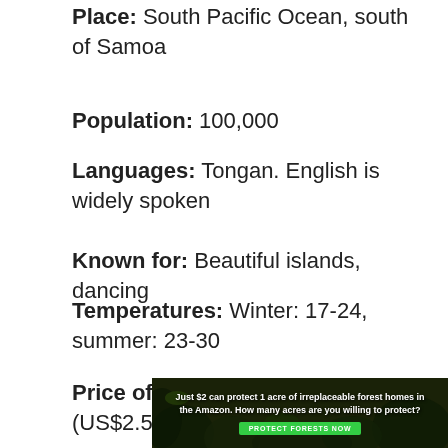Place: South Pacific Ocean, south of Samoa
Population: 100,000
Languages: Tongan. English is widely spoken
Known for: Beautiful islands, dancing
Temperatures: Winter: 17-24, summer: 23-30
Airports: Fua’amotu International Airport on Tongatapu island, 15km from Nuku’alofa
Price of a pint: $5 Tongan pa’anga (US$2.50 / GBP1.50)
[Figure (infographic): Advertisement banner: forest/Amazon background with text 'Just $2 can protect 1 acre of irreplaceable forest homes in the Amazon. How many acres are you willing to protect?' and a green 'Protect Forests Now' button.]